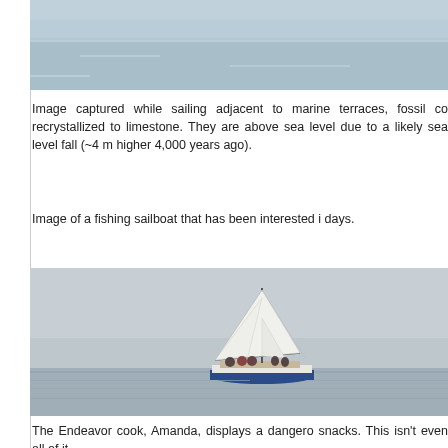[Figure (photo): Partial photo of marine terraces and sea, cropped at top of page]
Image captured while sailing adjacent to marine terraces, fossil co recrystallized to limestone. They are above sea level due to a likely sea level fall (~4 m higher 4,000 years ago).
Image of a fishing sailboat that has been interested i days.
[Figure (photo): A fishing sailboat with white sails on the open ocean, seen from a distance, with several people on board]
The Endeavor cook, Amanda, displays a dangero snacks. This isn't even all of it.